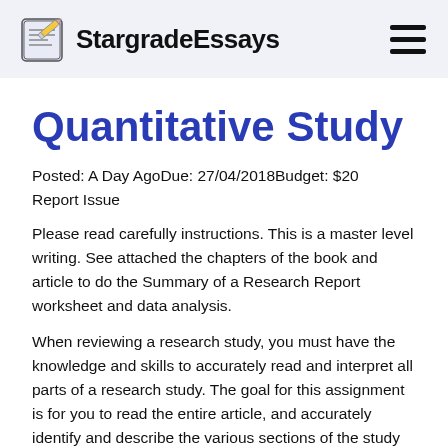StargradeEssays
Quantitative Study
Posted: A Day AgoDue: 27/04/2018Budget: $20
Report Issue
Please read carefully instructions. This is a master level writing. See attached the chapters of the book and article to do the Summary of a Research Report worksheet and data analysis.
When reviewing a research study, you must have the knowledge and skills to accurately read and interpret all parts of a research study. The goal for this assignment is for you to read the entire article, and accurately identify and describe the various sections of the study report. Use the information in chapters from prior